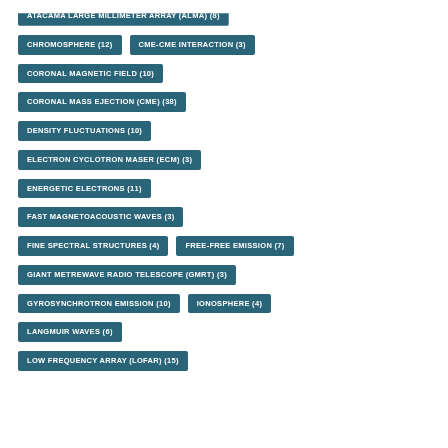ATACAMA LARGE MILLIMETER ARRAY (ALMA) (8)
CHROMOSPHERE (12)
CME-CME INTERACTION (3)
CORONAL MAGNETIC FIELD (10)
CORONAL MASS EJECTION (CME) (38)
DENSITY FLUCTUATIONS (10)
ELECTRON CYCLOTRON MASER (ECM) (3)
ENERGETIC ELECTRONS (11)
FAST MAGNETOACOUSTIC WAVES (3)
FINE SPECTRAL STRUCTURES (4)
FREE-FREE EMISSION (7)
GIANT METREWAVE RADIO TELESCOPE (GMRT) (3)
GYROSYNCHROTRON EMISSION (10)
IONOSPHERE (4)
LANGMUIR WAVES (6)
LOW FREQUENCY ARRAY (LOFAR) (15)